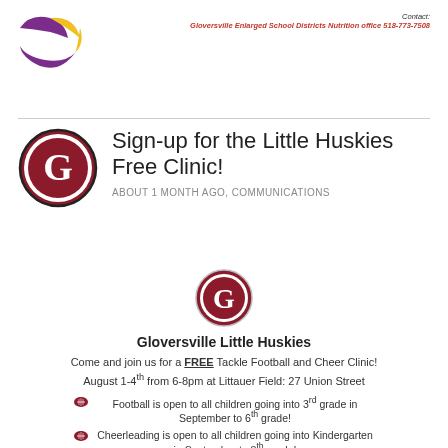[Figure (logo): Colorful school/nutrition program logo with purple and yellow colors at top left]
Contact:
Gloversville Enlarged School Districts Nutrition office 518-773-7508
Sign-up for the Little Huskies Free Clinic!
ABOUT 1 MONTH AGO, COMMUNICATIONS
[Figure (logo): Gloversville Huskies G logo - dark red oval with white G letter]
Gloversville Little Huskies
Come and join us for a FREE Tackle Football and Cheer Clinic!
August 1-4th from 6-8pm at Littauer Field: 27 Union Street
Football is open to all children going into 3rd grade in September to 6th grade!
Cheerleading is open to all children going into Kindergarten in September to 8th grade!